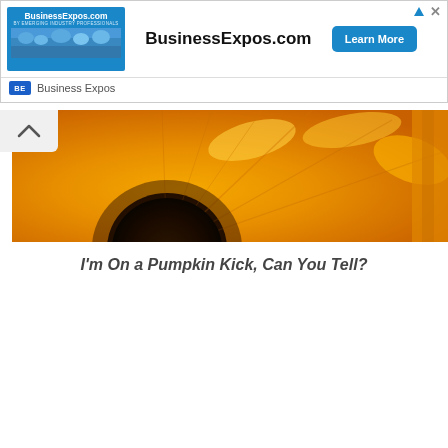[Figure (screenshot): BusinessExpos.com advertisement banner with logo image of trade show crowd, bold site name, Learn More button, and Business Expos footer label with close icons]
[Figure (photo): Close-up photo of an orange/yellow sunflower filling the frame]
I'm On a Pumpkin Kick, Can You Tell?